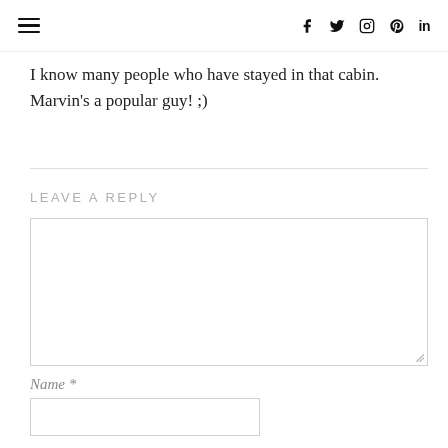≡   f  Twitter  Instagram  Pinterest  in
I know many people who have stayed in that cabin. Marvin's a popular guy! ;)
LEAVE A REPLY
[comment textarea]
Name *
[name input]